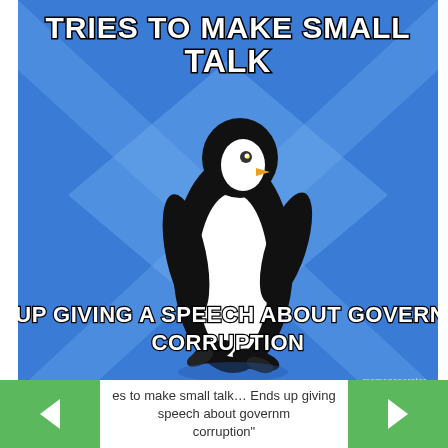[Figure (illustration): Socially Awkward Penguin meme. Blue background with lighter blue X/diamond pattern. A cartoon penguin (black and white) is centered walking awkwardly. Top text reads 'TRIES TO MAKE SMALL TALK'. Bottom text reads 'ENDS UP GIVING A SPEECH ABOUT GOVERNMENT CORRUPTION'. Watermark 'memegenerator' in bottom right.]
es to make small talk… Ends up giving speech about government corruption"